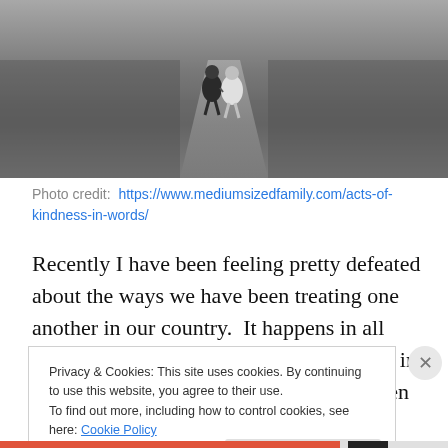[Figure (photo): Black and white photo of two children walking away down a path, viewed from behind]
Photo credit:  https://www.mediumsizedfamily.com/acts-of-kindness-in-words/
Recently I have been feeling pretty defeated about the ways we have been treating one another in our country.  It happens in all sorts of ways.  It happens in the tribalism in politics that makes us unable to even listen to alternate perspectives or work toward respectful compromise.  It
Privacy & Cookies: This site uses cookies. By continuing to use this website, you agree to their use.
To find out more, including how to control cookies, see here: Cookie Policy